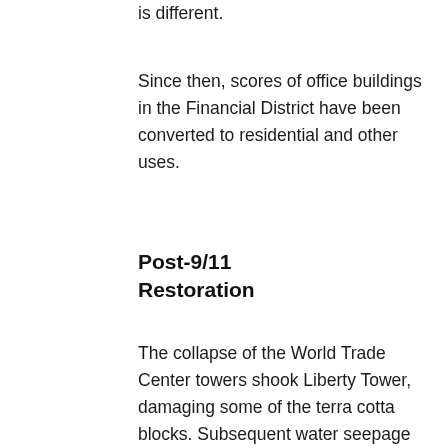is different.
Since then, scores of office buildings in the Financial District have been converted to residential and other uses.
Post-9/11 Restoration
The collapse of the World Trade Center towers shook Liberty Tower, damaging some of the terra cotta blocks. Subsequent water seepage made the problems worse. Fortunately, the tenants